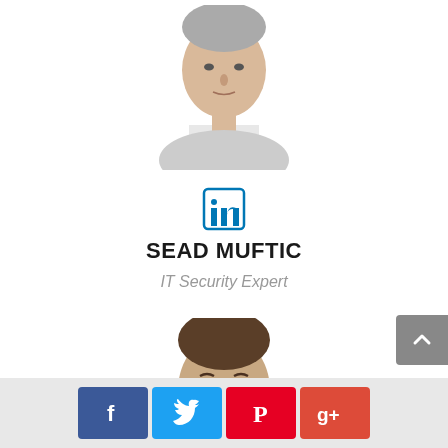[Figure (photo): Headshot of an older man in white shirt and dark tie, cropped at top of page]
[Figure (logo): LinkedIn logo icon in blue outline style]
SEAD MUFTIC
IT Security Expert
[Figure (photo): Headshot of a younger man in a suit, partially visible at bottom of page]
[Figure (infographic): Social media share bar with Facebook, Twitter, Pinterest, and Google+ buttons]